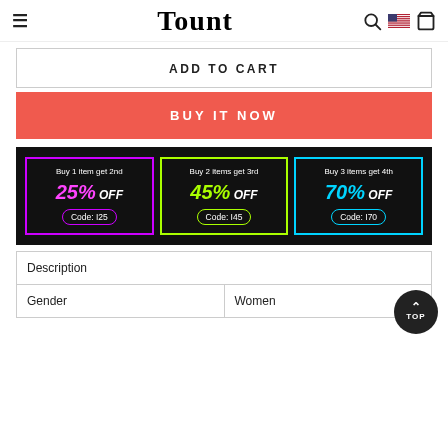Tount
ADD TO CART
BUY IT NOW
[Figure (infographic): Promotional banner on black background with three neon-bordered cards: 1) Purple border: Buy 1 item get 2nd 25% OFF Code: I25; 2) Green border: Buy 2 items get 3rd 45% OFF Code: I45; 3) Cyan border: Buy 3 items get 4th 70% OFF Code: I70]
| Description |  |
| --- | --- |
| Gender | Women |